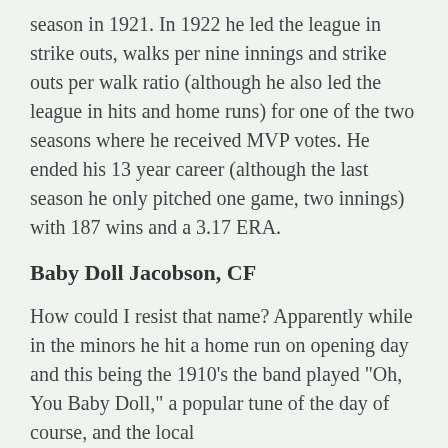season in 1921. In 1922 he led the league in strike outs, walks per nine innings and strike outs per walk ratio (although he also led the league in hits and home runs) for one of the two seasons where he received MVP votes. He ended his 13 year career (although the last season he only pitched one game, two innings) with 187 wins and a 3.17 ERA.
Baby Doll Jacobson, CF
How could I resist that name? Apparently while in the minors he hit a home run on opening day and this being the 1910's the band played "Oh, You Baby Doll," a popular tune of the day of course, and the local